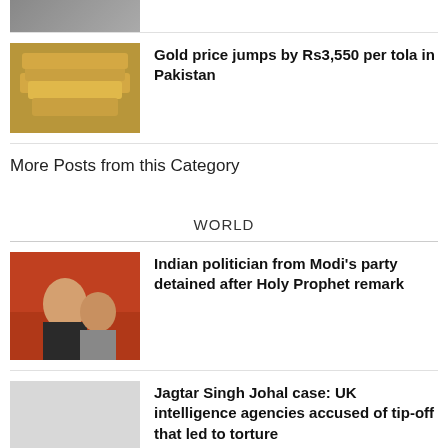[Figure (photo): Partial top image cropped at top of page]
Gold price jumps by Rs3,550 per tola in Pakistan
More Posts from this Category
WORLD
Indian politician from Modi's party detained after Holy Prophet remark
Jagtar Singh Johal case: UK intelligence agencies accused of tip-off that led to torture
Iran has dropped some demands for nuclear deal, US official says